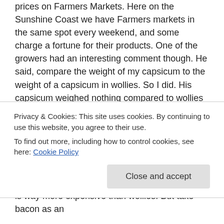prices on Farmers Markets. Here on the Sunshine Coast we have Farmers markets in the same spot every weekend, and some charge a fortune for their products. One of the growers had an interesting comment though. He said, compare the weight of my capsicum to the weight of a capsicum in wollies. So I did. His capsicum weighed nothing compared to wollies capsicum. So the kilo price difference made his cheaper. He said Wollies tell their producers to grow their produce in a certain way to make them heavier. It sounded like a conspiracy idea but when I checked it he was right.
In terms of meat prices in my Farmers market it is way more expensive than wollies. But take bacon as an
Privacy & Cookies: This site uses cookies. By continuing to use this website, you agree to their use.
To find out more, including how to control cookies, see here: Cookie Policy
A recipe in b h f t id f Af d b ll